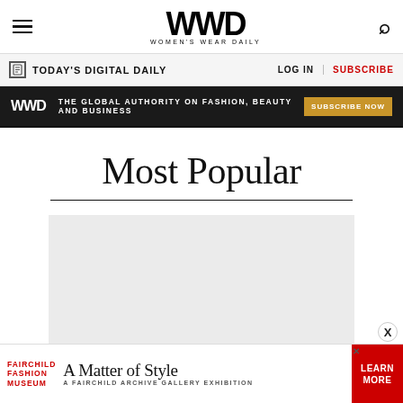WWD — Women's Wear Daily
TODAY'S DIGITAL DAILY | LOG IN | SUBSCRIBE
WWD — THE GLOBAL AUTHORITY ON FASHION, BEAUTY AND BUSINESS — SUBSCRIBE NOW
Most Popular
[Figure (other): Gray placeholder content box below Most Popular heading]
[Figure (other): Bottom advertisement: Fairchild Fashion Museum — A Matter of Style — A Fairchild Archive Gallery Exhibition — Learn More]